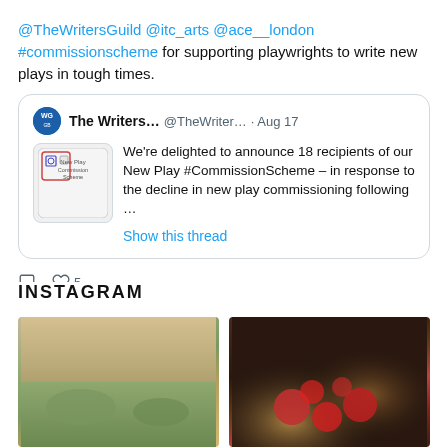@TheWritersGuild @itc_arts @ace__london #commissionscheme for supporting playwrights to write new plays in tough times.
[Figure (screenshot): Quoted tweet from @TheWritersGuild dated Aug 17: 'We're delighted to announce 18 recipients of our New Play #CommissionScheme – in response to the decline in new play commissioning following ...' with Show this thread link and New Play Commission Scheme logo image.]
INSTAGRAM
[Figure (photo): Photo of a meadow/field with warm sunset tones and long grass]
[Figure (photo): Photo of a bar/venue interior with red balloons/decorations and warm lights]